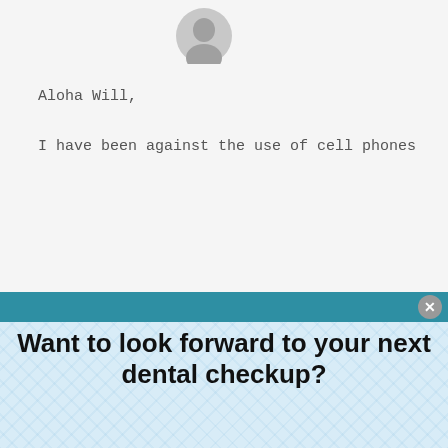[Figure (illustration): Gray avatar/profile icon circle at top center of email background]
Aloha Will,
I have been against the use of cell phones
Want to look forward to your next dental checkup?
Sign up to receive weekly oral hygiene gems. Impress your dentist by making cavities, bleeding gums, & sensitive teeth things of the past!
Enter your email here
Sign me up :)
We take your privacy very seriously and will never sell, trade, or abuse your information.